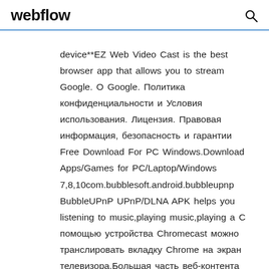webflow
device**EZ Web Video Cast is the best browser app that allows you to stream Google. О Google. Политика конфиденциальности и Условия использования. Лицензия. Правовая информация, безопасность и гарантии Free Download For PC Windows.Download Apps/Games for PC/Laptop/Windows 7,8,10com.bubblesoft.android.bubbleupnp BubbleUPnP UPnP/DLNA APK helps you listening to music,playing music,playing a С помощью устройства Chromecast можно транслировать вкладку Chrome на экран телевизора.Большая часть веб-контента LocalCast for Chromecast / DLNA is a complete solution for streaming all the content of our